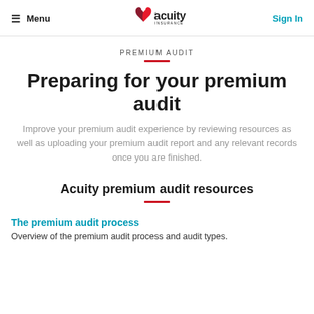Menu | Acuity Insurance | Sign In
PREMIUM AUDIT
Preparing for your premium audit
Improve your premium audit experience by reviewing resources as well as uploading your premium audit report and any relevant records once you are finished.
Acuity premium audit resources
The premium audit process
Overview of the premium audit process and audit types.